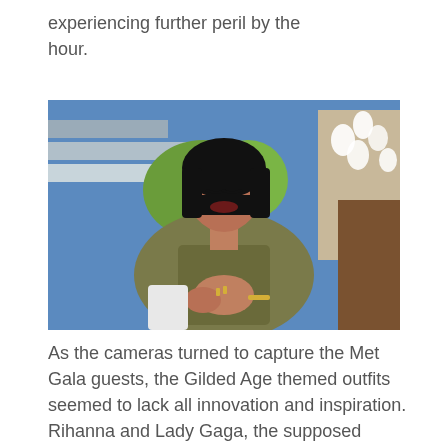experiencing further peril by the hour.
[Figure (photo): A woman with a black bob haircut wearing a green/khaki jacket, seated with eyes closed, hands displayed, on a TV talk show set with blue background and white flowers]
As the cameras turned to capture the Met Gala guests, the Gilded Age themed outfits seemed to lack all innovation and inspiration. Rihanna and Lady Gaga, the supposed reigning queens of the Met never showed, while the Kardashians, in Off-White and Thom Browne,